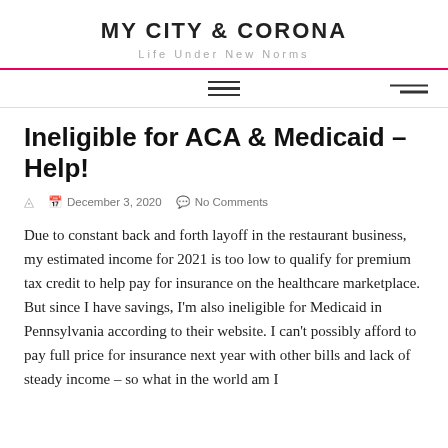MY CITY & CORONA
Life Under New Norms
Ineligible for ACA & Medicaid – Help!
December 3, 2020   No Comments
Due to constant back and forth layoff in the restaurant business, my estimated income for 2021 is too low to qualify for premium tax credit to help pay for insurance on the healthcare marketplace. But since I have savings, I'm also ineligible for Medicaid in Pennsylvania according to their website. I can't possibly afford to pay full price for insurance next year with other bills and lack of steady income – so what in the world am I